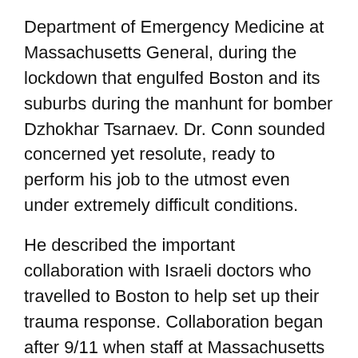Department of Emergency Medicine at Massachusetts General, during the lockdown that engulfed Boston and its suburbs during the manhunt for bomber Dzhokhar Tsarnaev. Dr. Conn sounded concerned yet resolute, ready to perform his job to the utmost even under extremely difficult conditions.
He described the important collaboration with Israeli doctors who travelled to Boston to help set up their trauma response. Collaboration began after 9/11 when staff at Massachusetts General realized they wouldn't be prepared for an attack of that magnitude closer to home.
“We could manage to treat patients from a multiple car crash – with three or four or five patients – pretty well,” recalls Dr. Alasdair Conn, Chief of the Department of Emergency Medicine, “but what would happen if we had